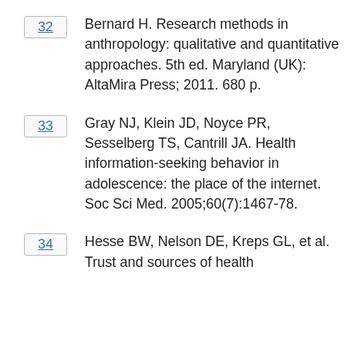32 Bernard H. Research methods in anthropology: qualitative and quantitative approaches. 5th ed. Maryland (UK): AltaMira Press; 2011. 680 p.
33 Gray NJ, Klein JD, Noyce PR, Sesselberg TS, Cantrill JA. Health information-seeking behavior in adolescence: the place of the internet. Soc Sci Med. 2005;60(7):1467-78.
34 Hesse BW, Nelson DE, Kreps GL, et al. Trust and sources of health